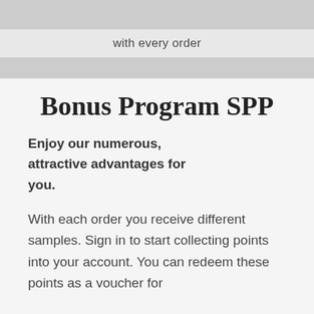with every order
Bonus Program SPP
Enjoy our numerous, attractive advantages for you.
With each order you receive different samples. Sign in to start collecting points into your account. You can redeem these points as a voucher for